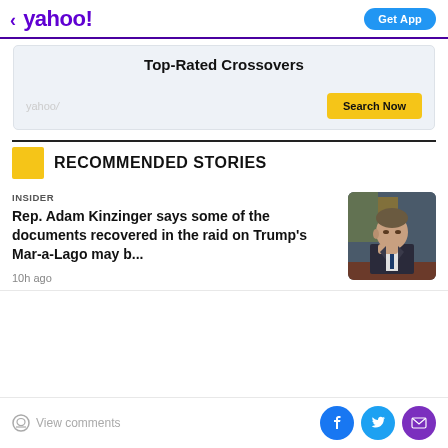< yahoo! | Get App
[Figure (screenshot): Yahoo advertisement banner for Top-Rated Crossovers with a Search Now button]
RECOMMENDED STORIES
INSIDER
Rep. Adam Kinzinger says some of the documents recovered in the raid on Trump's Mar-a-Lago may b...
10h ago
View comments | Facebook | Twitter | Email